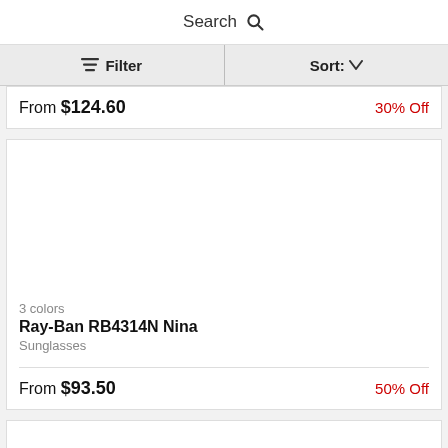Search
Filter   Sort:
From $124.60   30% Off
3 colors
Ray-Ban RB4314N Nina
Sunglasses
From $93.50   50% Off